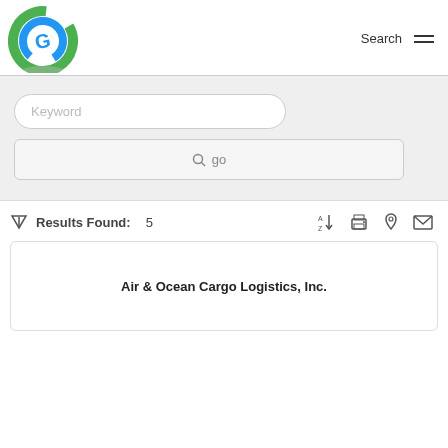[Figure (logo): Globe/earth logo with blue and green colors and a G letter, company logo]
Search ≡
[Figure (screenshot): Search input box with placeholder text 'Keyword']
[Figure (screenshot): Go button with search icon]
Results Found: 5
Air & Ocean Cargo Logistics, Inc.